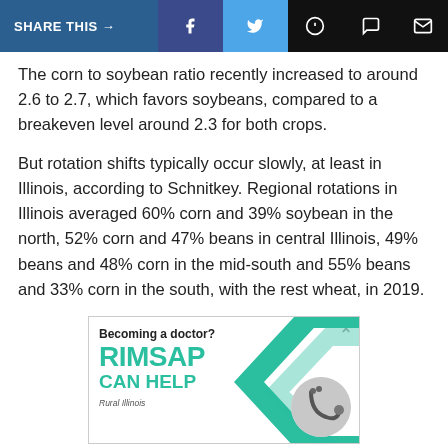SHARE THIS →
The corn to soybean ratio recently increased to around 2.6 to 2.7, which favors soybeans, compared to a breakeven level around 2.3 for both crops.
But rotation shifts typically occur slowly, at least in Illinois, according to Schnitkey. Regional rotations in Illinois averaged 60% corn and 39% soybean in the north, 52% corn and 47% beans in central Illinois, 49% beans and 48% corn in the mid-south and 55% beans and 33% corn in the south, with the rest wheat, in 2019.
[Figure (other): Advertisement banner: 'Becoming a doctor? RIMSAP CAN HELP' with Rural Illinois branding and a stethoscope image with teal chevron graphic]